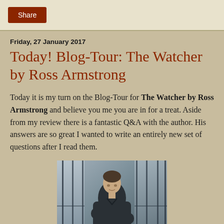Share
Friday, 27 January 2017
Today! Blog-Tour: The Watcher by Ross Armstrong
Today it is my turn on the Blog-Tour for The Watcher by Ross Armstrong and believe you me you are in for a treat. Aside from my review there is a fantastic Q&A with the author. His answers are so great I wanted to write an entirely new set of questions after I read them.
[Figure (photo): Author photo of Ross Armstrong, a man with arms crossed wearing a dark shirt, standing in front of large windows in a modern building]